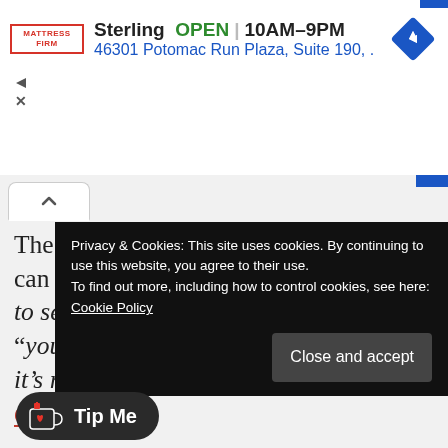[Figure (screenshot): Mattress Firm ad banner showing Sterling location, OPEN, 10AM-9PM, address 46301 Potomac Run Plaza Suite 190, with navigation diamond icon]
The problem is, as Matt said, somebody can be like, “I love your band, can’t wait to see you next” but the person who says “you guys suck, for some reason, all day it’s rattling
Privacy & Cookies: This site uses cookies. By continuing to use this website, you agree to their use.
To find out more, including how to control cookies, see here: Cookie Policy
[Figure (screenshot): Tip Me button with Ko-fi heart icon]